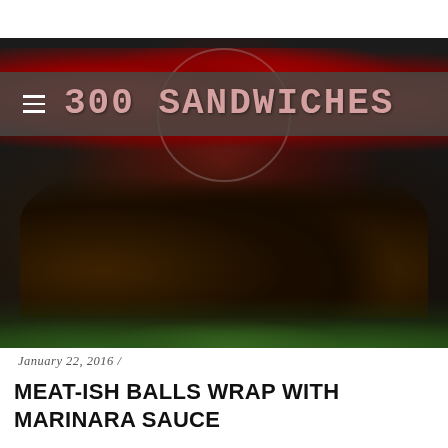300 SANDWICHES
[Figure (photo): Close-up photo of meat-ish balls topped with dark red marinara sauce, served on a green lettuce leaf against a dark background]
January 22, 2016 /
MEAT-ISH BALLS WRAP WITH MARINARA SAUCE